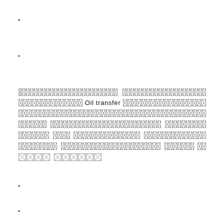*
*
[redacted text line 1]
[redacted text] Oil transfer [redacted text]
[redacted text line 3]
[redacted text line 4]
[redacted text line 5]
[redacted text line 6]
[redacted text line 7]
*
*